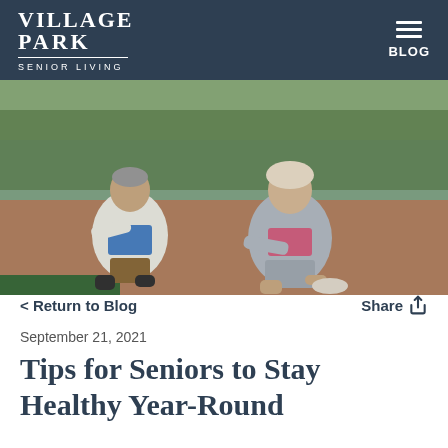VILLAGE PARK | SENIOR LIVING | BLOG
[Figure (photo): Two senior adults doing lunges/stretching exercises outdoors on a track near a lake with green trees in the background. Man on left wearing white jacket and blue shirt, woman on right wearing grey hoodie and pink top.]
< Return to Blog
Share
September 21, 2021
Tips for Seniors to Stay Healthy Year-Round